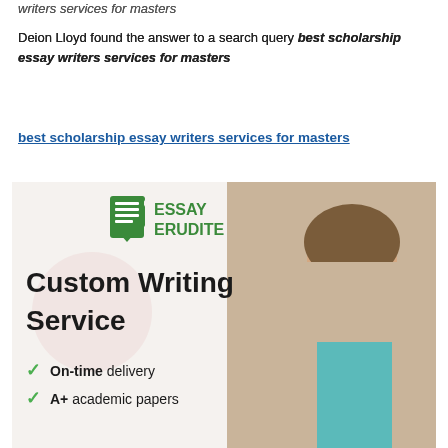writers services for masters
Deion Lloyd found the answer to a search query best scholarship essay writers services for masters
best scholarship essay writers services for masters
[Figure (illustration): Essay Erudite Custom Writing Service advertisement image showing logo, 'Custom Writing Service' heading, and checklist items 'On-time delivery' and 'A+ academic papers', with a stressed student photo on the right]